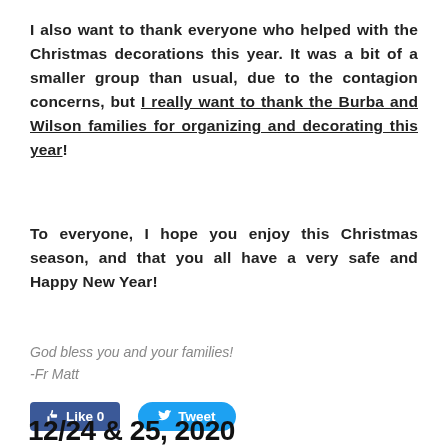I also want to thank everyone who helped with the Christmas decorations this year. It was a bit of a smaller group than usual, due to the contagion concerns, but I really want to thank the Burba and Wilson families for organizing and decorating this year!
To everyone, I hope you enjoy this Christmas season, and that you all have a very safe and Happy New Year!
God bless you and your families!
-Fr Matt
[Figure (screenshot): Facebook Like button showing Like 0 and Tweet button]
12/24 & 25, 2020